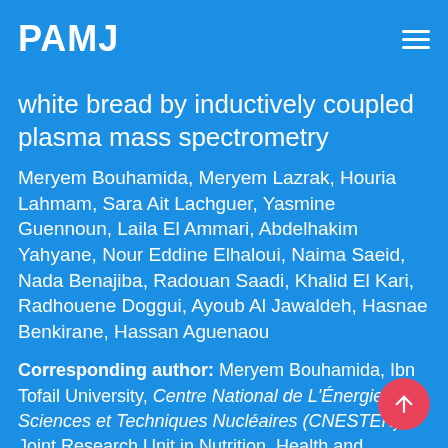PAMJ
white bread by inductively coupled plasma mass spectrometry
Meryem Bouhamida, Meryem Lazrak, Houria Lahmam, Sara Ait Lachguer, Yasmine Guennoun, Laila El Ammari, Abdelhakim Yahyane, Nour Eddine Elhaloui, Naima Saeid, Nada Benajiba, Radouan Saadi, Khalid El Kari, Radhouene Doggui, Ayoub Al Jawaldeh, Hasnae Benkirane, Hassan Aguenaou
Corresponding author: Meryem Bouhamida, Ibn Tofail University, Centre National de L'Énergie, des Sciences et Techniques Nucléaires (CNESTEN), Joint Research Unit in Nutrition, Health and Environment Regional Designated Centres (RDC)-Nutrition Africa Regional Cooperative Agreement for Research,